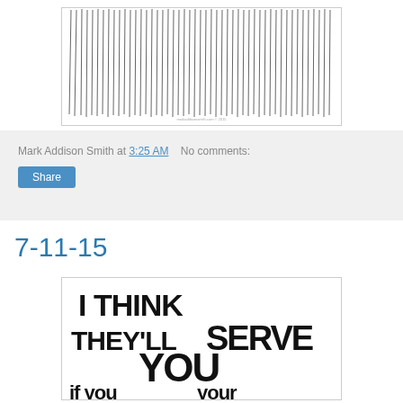[Figure (illustration): Abstract vertical line drawing artwork in black and white, shown in a bordered frame]
Mark Addison Smith at 3:25 AM   No comments:
Share
7-11-15
[Figure (illustration): Hand-lettered black text artwork reading 'I THINK THEY'LL SERVE YOU if you...' on white background]